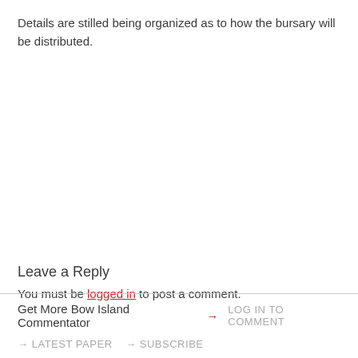Details are stilled being organized as to how the bursary will be distributed.
Leave a Reply
You must be logged in to post a comment.
Get More Bow Island Commentator → LOG IN TO COMMENT